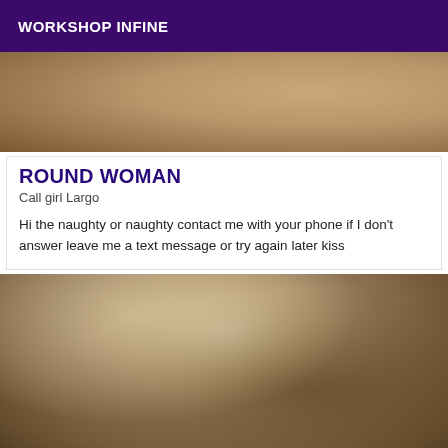WORKSHOP INFINE
[Figure (photo): Partial photo showing fabric/bedding in tan and beige tones]
ROUND WOMAN
Call girl Largo
Hi the naughty or naughty contact me with your phone if I don't answer leave me a text message or try again later kiss
[Figure (photo): Photo of a woman with blonde braids wearing black fishnet clothing, viewed from behind]